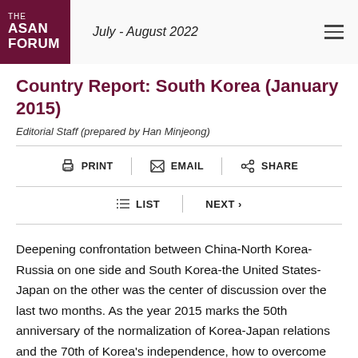THE ASAN FORUM | July - August 2022
Country Report: South Korea (January 2015)
Editorial Staff (prepared by Han Minjeong)
PRINT | EMAIL | SHARE
LIST | NEXT >
Deepening confrontation between China-North Korea-Russia on one side and South Korea-the United States-Japan on the other was the center of discussion over the last two months. As the year 2015 marks the 50th anniversary of the normalization of Korea-Japan relations and the 70th of Korea's independence, how to overcome the